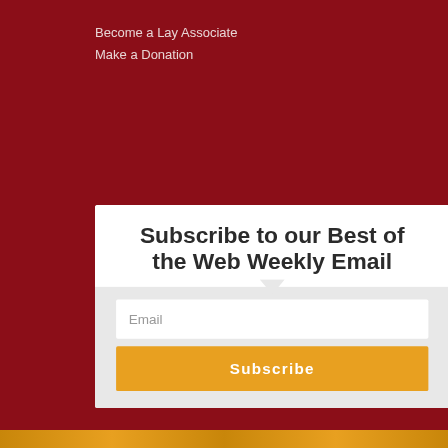Become a Lay Associate
Make a Donation
Subscribe to our Best of the Web Weekly Email
Email
Subscribe